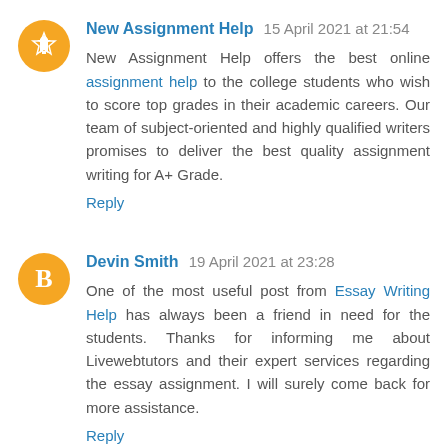New Assignment Help 15 April 2021 at 21:54
New Assignment Help offers the best online assignment help to the college students who wish to score top grades in their academic careers. Our team of subject-oriented and highly qualified writers promises to deliver the best quality assignment writing for A+ Grade.
Reply
Devin Smith 19 April 2021 at 23:28
One of the most useful post from Essay Writing Help has always been a friend in need for the students. Thanks for informing me about Livewebtutors and their expert services regarding the essay assignment. I will surely come back for more assistance.
Reply
Soraya Lee 22 April 2021 at 03:10
Hands down, Livewebtutors is the best editing service I